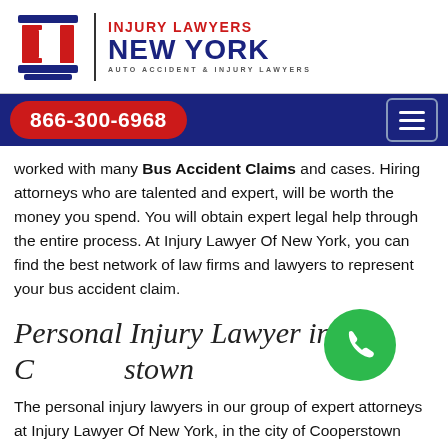[Figure (logo): Injury Lawyers New York logo with red IL letters on blue column icon, vertical divider, red INJURY LAWYERS text, blue NEW YORK text, and subtitle AUTO ACCIDENT & INJURY LAWYERS]
866-300-6968
worked with many Bus Accident Claims and cases. Hiring attorneys who are talented and expert, will be worth the money you spend. You will obtain expert legal help through the entire process. At Injury Lawyer Of New York, you can find the best network of law firms and lawyers to represent your bus accident claim.
Personal Injury Lawyer in Cooperstown
The personal injury lawyers in our group of expert attorneys at Injury Lawyer Of New York, in the city of Cooperstown deal with all cases in which you as the plaintiff have faced any injuries which caused you bodily harm, emotional wounds, or property